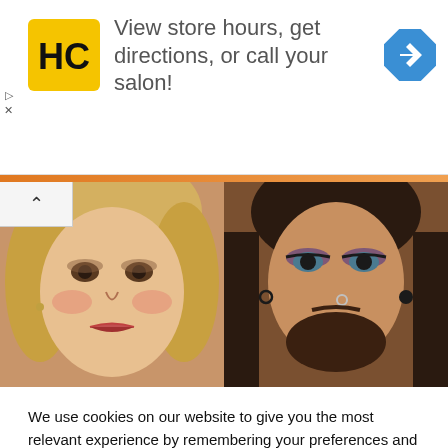[Figure (infographic): Advertisement banner: HC logo (yellow square with black HC letters), text 'View store hours, get directions, or call your salon!', blue navigation diamond icon on right, small play/close controls on left]
[Figure (photo): Two portrait photos side by side: left is a blonde woman with dramatic makeup, right is a man with long dark hair, beard, earring and dramatic eye makeup]
We use cookies on our website to give you the most relevant experience by remembering your preferences and repeat visits. By clicking “Accept”, you consent to the use of ALL the cookies.
Do not sell my personal information.
Cookie settings   ACCEPT